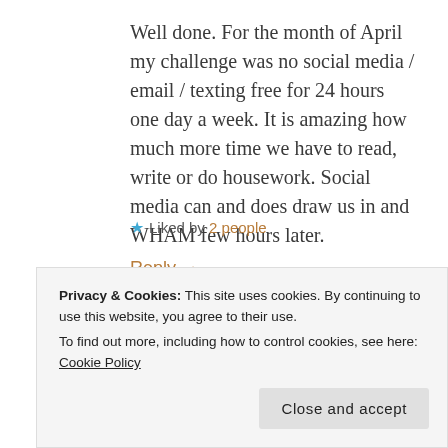Well done. For the month of April my challenge was no social media / email / texting free for 24 hours one day a week. It is amazing how much more time we have to read, write or do housework. Social media can and does draw us in and WHAM few hours later.
★ Liked by 2 people
Reply →
once you break the habit.
Privacy & Cookies: This site uses cookies. By continuing to use this website, you agree to their use.
To find out more, including how to control cookies, see here: Cookie Policy